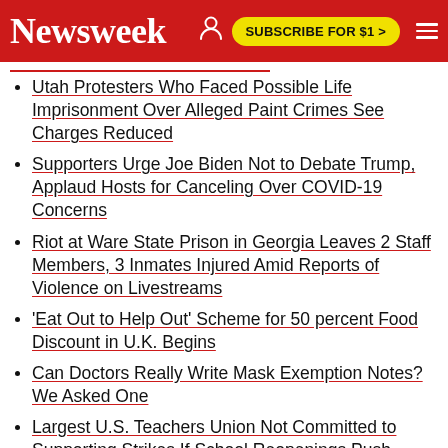Newsweek | SUBSCRIBE FOR $1 >
Utah Protesters Who Faced Possible Life Imprisonment Over Alleged Paint Crimes See Charges Reduced
Supporters Urge Joe Biden Not to Debate Trump, Applaud Hosts for Canceling Over COVID-19 Concerns
Riot at Ware State Prison in Georgia Leaves 2 Staff Members, 3 Inmates Injured Amid Reports of Violence on Livestreams
'Eat Out to Help Out' Scheme for 50 percent Food Discount in U.K. Begins
Can Doctors Really Write Mask Exemption Notes? We Asked One
Largest U.S. Teachers Union Not Committed to Supporting Strikes If School Reopenings Push Ahead